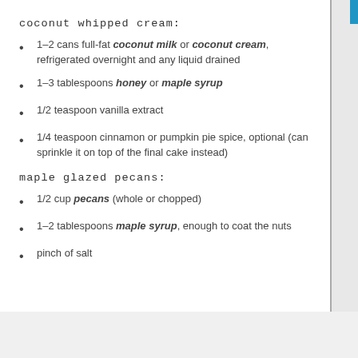coconut whipped cream:
1–2 cans full-fat coconut milk or coconut cream, refrigerated overnight and any liquid drained
1–3 tablespoons honey or maple syrup
1/2 teaspoon vanilla extract
1/4 teaspoon cinnamon or pumpkin pie spice, optional (can sprinkle it on top of the final cake instead)
maple glazed pecans:
1/2 cup pecans (whole or chopped)
1–2 tablespoons maple syrup, enough to coat the nuts
pinch of salt